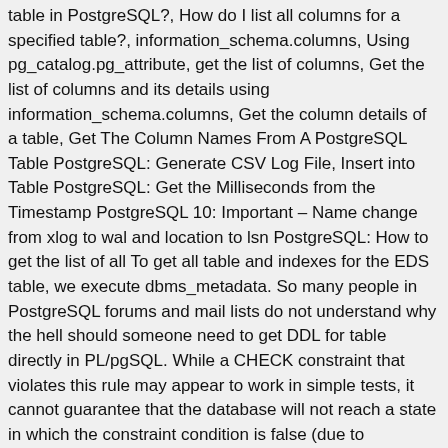table in PostgreSQL?, How do I list all columns for a specified table?, information_schema.columns, Using pg_catalog.pg_attribute, get the list of columns, Get the list of columns and its details using information_schema.columns, Get the column details of a table, Get The Column Names From A PostgreSQL Table PostgreSQL: Generate CSV Log File, Insert into Table PostgreSQL: Get the Milliseconds from the Timestamp PostgreSQL 10: Important – Name change from xlog to wal and location to lsn PostgreSQL: How to get the list of all To get all table and indexes for the EDS table, we execute dbms_metadata. So many people in PostgreSQL forums and mail lists do not understand why the hell should someone need to get DDL for table directly in PL/pgSQL. While a CHECK constraint that violates this rule may appear to work in simple tests, it cannot guarantee that the database will not reach a state in which the constraint condition is false (due to subsequent changes of the other row(s) involved). The role_idcolumn references the role_idcolumn in the roles table, we also need to define a foreign key constraint for the